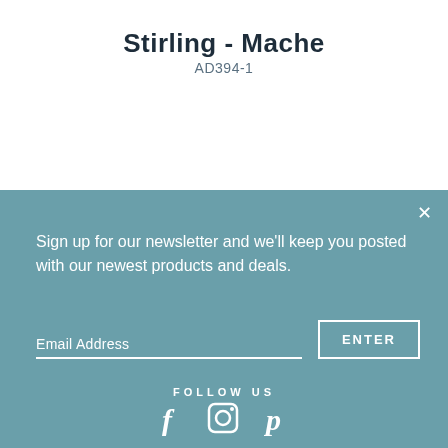Stirling - Mache
AD394-1
Sign up for our newsletter and we'll keep you posted with our newest products and deals.
Email Address
ENTER
FOLLOW US
[Figure (other): Social media icons: Facebook (f), Instagram (camera), Pinterest (p)]